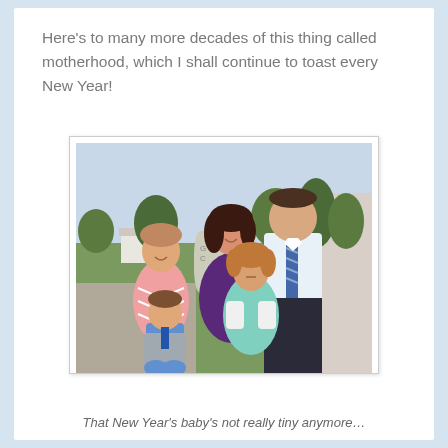Here's to many more decades of this thing called motherhood, which I shall continue to toast every New Year!
[Figure (photo): Family photo showing two adults and three children posing outdoors in front of a building. A woman in purple and a man in a white dress shirt and striped tie stand in the back. A girl in a pink chevron dress stands to the left, a young boy in a blue shirt crouches in front, and a younger girl in a teal dress stands in the center-right.]
That New Year's baby's not really tiny anymore…